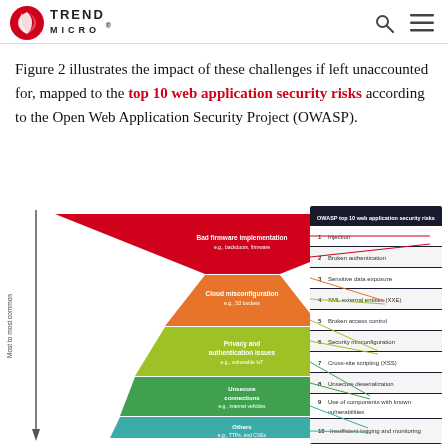Trend Micro logo header with search and menu icons
Figure 2 illustrates the impact of these challenges if left unaccounted for, mapped to the top 10 web application security risks according to the Open Web Application Security Project (OWASP).
[Figure (infographic): An inverted triangle (funnel) diagram showing layers labeled: Bad firmware implementation (e.g., backdoors, firmware), Cloud misconfiguration (e.g., S3 buckets), Privacy and authentication issues (e.g., vulnerable IoT), Unsecure connections (e.g., internet vehicles), Others (e.g., TTPs, and CVEs). The left side has a vertical arrow labeled 'Most to most common'. Lines connect each layer to a table on the right listing OWASP top 10 web application security risks: 1 Injection, 2 Broken authentication, 3 Sensitive data exposure, 4 XML external entities (XXE), 5 Broken access control, 6 Security misconfiguration, 7 Cross-site scripting (XSS), 8 Unsecure deserialization, 9 Use of components with known vulnerabilities, 10 Insufficient logging and monitoring.]